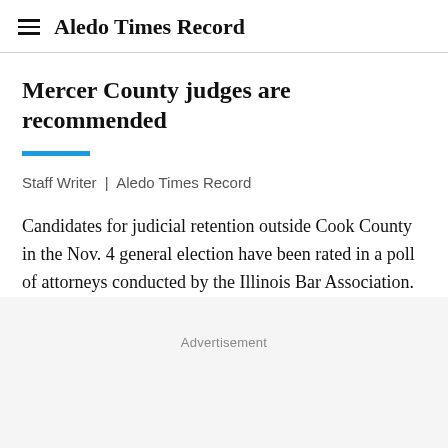Aledo Times Record
Mercer County judges are recommended
Staff Writer  |  Aledo Times Record
Candidates for judicial retention outside Cook County in the Nov. 4 general election have been rated in a poll of attorneys conducted by the Illinois Bar Association.
Advertisement